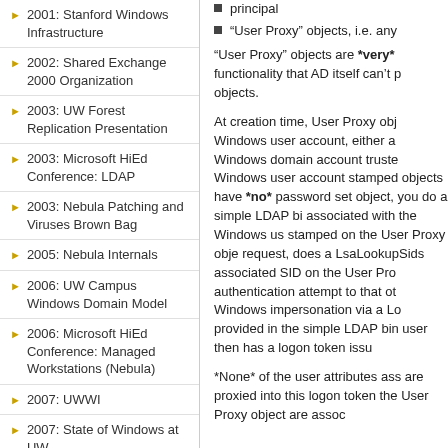2001: Stanford Windows Infrastructure
2002: Shared Exchange 2000 Organization
2003: UW Forest Replication Presentation
2003: Microsoft HiEd Conference: LDAP
2003: Nebula Patching and Viruses Brown Bag
2005: Nebula Internals
2006: UW Campus Windows Domain Model
2006: Microsoft HiEd Conference: Managed Workstations (Nebula)
2007: UWWI
2007: State of Windows at UW
2007 Microsoft HiEd Conference: Trusts and AD Privacy Groups
2009: UWWI: What's in it
“User Proxy” objects are *very* functionality that AD itself can’t p objects.
At creation time, User Proxy obj Windows user account, either a Windows domain account truste Windows user account stamped objects have *no* password set object, you do a simple LDAP bi associated with the Windows us stamped on the User Proxy obje request, does a LsaLookupSids associated SID on the User Pro authentication attempt to that ot Windows impersonation via a Lo provided in the simple LDAP bin user then has a logon token issu
*None* of the user attributes ass are proxied into this logon token the User Proxy object are assoc